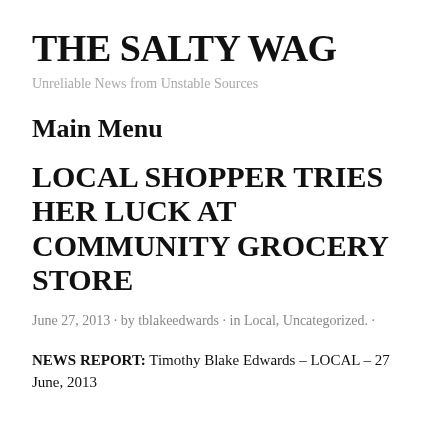THE SALTY WAG
Unreliable News from Unstable Sources
Main Menu
LOCAL SHOPPER TRIES HER LUCK AT COMMUNITY GROCERY STORE
June 27, 2013 · by tblakeedwards · in Local, Uncategorized. ·
NEWS REPORT: Timothy Blake Edwards – LOCAL – 27 June, 2013